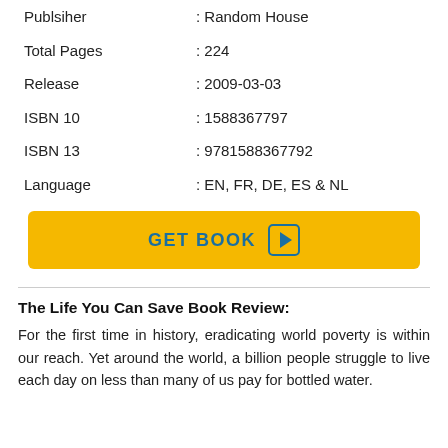| Publsiher | : Random House |
| Total Pages | : 224 |
| Release | : 2009-03-03 |
| ISBN 10 | : 1588367797 |
| ISBN 13 | : 9781588367792 |
| Language | : EN, FR, DE, ES & NL |
[Figure (other): Yellow 'GET BOOK' button with play icon]
The Life You Can Save Book Review:
For the first time in history, eradicating world poverty is within our reach. Yet around the world, a billion people struggle to live each day on less than many of us pay for bottled water.